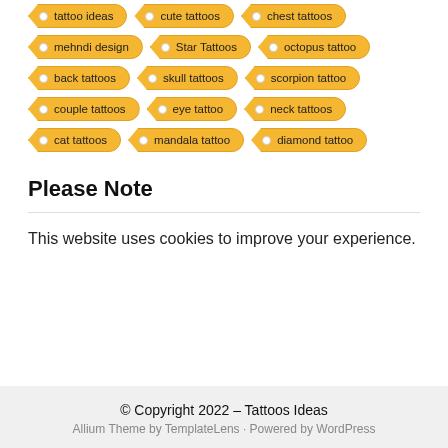tattoo ideas
cute tattoos
chest tattoos
mehndi design
Star Tattoos
octopus tattoo
back tattoos
skull tattoos
scorpion tattoo
couple tattoos
eye tattoo
neck tattoos
cat tattoos
mandala tattoo
diamond tattoo
Please Note
This website uses cookies to improve your experience.
© Copyright 2022 – Tattoos Ideas
Allium Theme by TemplateLens · Powered by WordPress